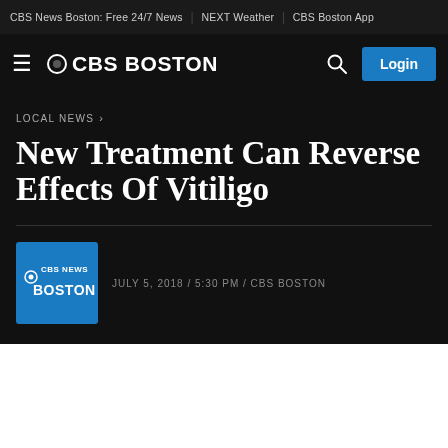CBS News Boston: Free 24/7 News | NEXT Weather | CBS Boston App
≡ CBS BOSTON  🔍  Login
LOCAL NEWS ›
New Treatment Can Reverse Effects Of Vitiligo
JULY 5, 2018 / 5:30 PM / CBS BOSTON